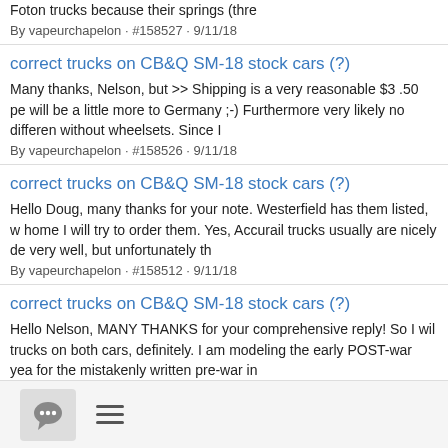Foton trucks because their springs (thre
By vapeurchapelon · #158527 · 9/11/18
correct trucks on CB&Q SM-18 stock cars (?)
Many thanks, Nelson, but >> Shipping is a very reasonable $3 .50 pe will be a little more to Germany ;-) Furthermore very likely no differen without wheelsets. Since I
By vapeurchapelon · #158526 · 9/11/18
correct trucks on CB&Q SM-18 stock cars (?)
Hello Doug, many thanks for your note. Westerfield has them listed, w home I will try to order them. Yes, Accurail trucks usually are nicely de very well, but unfortunately th
By vapeurchapelon · #158512 · 9/11/18
correct trucks on CB&Q SM-18 stock cars (?)
Hello Nelson, MANY THANKS for your comprehensive reply! So I wil trucks on both cars, definitely. I am modeling the early POST-war yea for the mistakenly written pre-war in
By vapeurchapelon · #158510 · 9/11/18